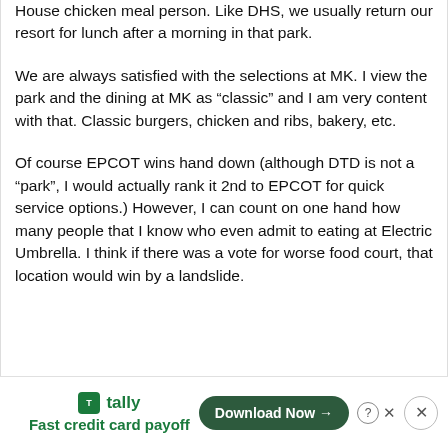House chicken meal person. Like DHS, we usually return our resort for lunch after a morning in that park.
We are always satisfied with the selections at MK. I view the park and the dining at MK as “classic” and I am very content with that. Classic burgers, chicken and ribs, bakery, etc.
Of course EPCOT wins hand down (although DTD is not a “park”, I would actually rank it 2nd to EPCOT for quick service options.) However, I can count on one hand how many people that I know who even admit to eating at Electric Umbrella. I think if there was a vote for worse food court, that location would win by a landslide.
[Figure (other): Tally app advertisement banner with logo, tagline 'Fast credit card payoff', Download Now button, help icon, and close button]